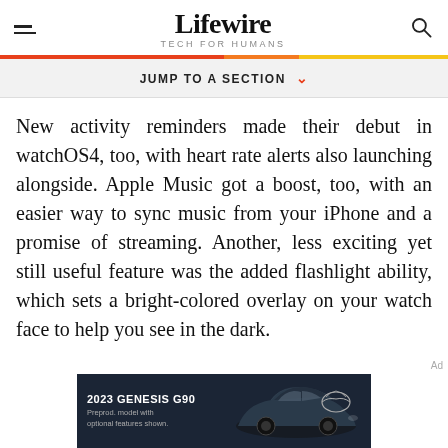Lifewire — TECH FOR HUMANS
JUMP TO A SECTION
New activity reminders made their debut in watchOS4, too, with heart rate alerts also launching alongside. Apple Music got a boost, too, with an easier way to sync music from your iPhone and a promise of streaming. Another, less exciting yet still useful feature was the added flashlight ability, which sets a bright-colored overlay on your watch face to help you see in the dark.
[Figure (photo): 2023 Genesis G90 advertisement banner showing a luxury sedan against dark background with Genesis logo]